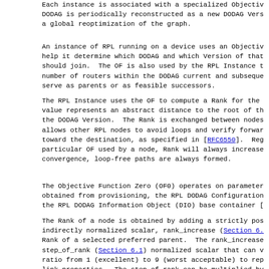Each instance is associated with a specialized Objective DODAG is periodically reconstructed as a new DODAG Vers a global reoptimization of the graph.
An instance of RPL running on a device uses an Objectiv help it determine which DODAG and which Version of that should join.  The OF is also used by the RPL Instance t number of routers within the DODAG current and subseque serve as parents or as feasible successors.
The RPL Instance uses the OF to compute a Rank for the value represents an abstract distance to the root of th the DODAG Version.  The Rank is exchanged between nodes allows other RPL nodes to avoid loops and verify forwar toward the destination, as specified in [RFC6550].  Reg particular OF used by a node, Rank will always increase convergence, loop-free paths are always formed.
The Objective Function Zero (OF0) operates on parameter obtained from provisioning, the RPL DODAG Configuration the RPL DODAG Information Object (DIO) base container [
The Rank of a node is obtained by adding a strictly pos indirectly normalized scalar, rank_increase (Section 6. Rank of a selected preferred parent.  The rank_increase step_of_rank (Section 6.1) normalized scalar that can v ratio from 1 (excellent) to 9 (worst acceptable) to rep link properties.  The step_of_rank can be multiplied by configurable factor called rank_factor (Section 6.2) th the rank increase to reflect the relative preferences